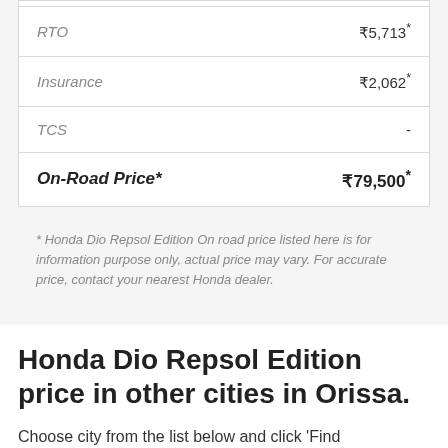| Item | Amount |
| --- | --- |
| RTO | ₹5,713* |
| Insurance | ₹2,062* |
| TCS | - |
| On-Road Price* | ₹79,500* |
* Honda Dio Repsol Edition On road price listed here is for information purpose only, actual price may vary. For accurate price, contact your nearest Honda dealer.
Honda Dio Repsol Edition price in other cities in Orissa.
Choose city from the list below and click 'Find Price'.